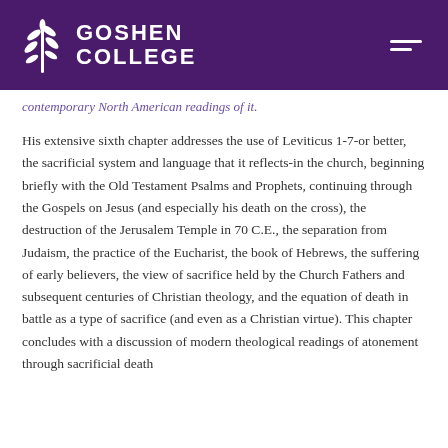Goshen College
contemporary North American readings of it.
His extensive sixth chapter addresses the use of Leviticus 1-7-or better, the sacrificial system and language that it reflects-in the church, beginning briefly with the Old Testament Psalms and Prophets, continuing through the Gospels on Jesus (and especially his death on the cross), the destruction of the Jerusalem Temple in 70 C.E., the separation from Judaism, the practice of the Eucharist, the book of Hebrews, the suffering of early believers, the view of sacrifice held by the Church Fathers and subsequent centuries of Christian theology, and the equation of death in battle as a type of sacrifice (and even as a Christian virtue). This chapter concludes with a discussion of modern theological readings of atonement through sacrificial death